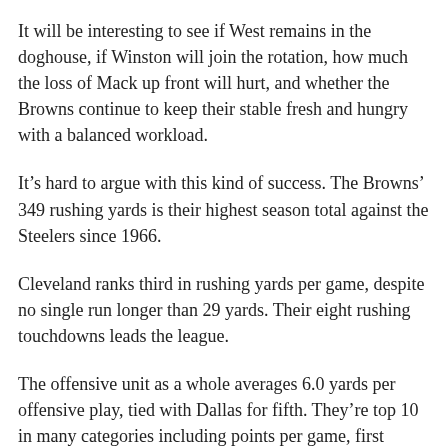It will be interesting to see if West remains in the doghouse, if Winston will join the rotation, how much the loss of Mack up front will hurt, and whether the Browns continue to keep their stable fresh and hungry with a balanced workload.
It’s hard to argue with this kind of success. The Browns’ 349 rushing yards is their highest season total against the Steelers since 1966.
Cleveland ranks third in rushing yards per game, despite no single run longer than 29 yards. Their eight rushing touchdowns leads the league.
The offensive unit as a whole averages 6.0 yards per offensive play, tied with Dallas for fifth. They’re top 10 in many categories including points per game, first downs per game, and turnover